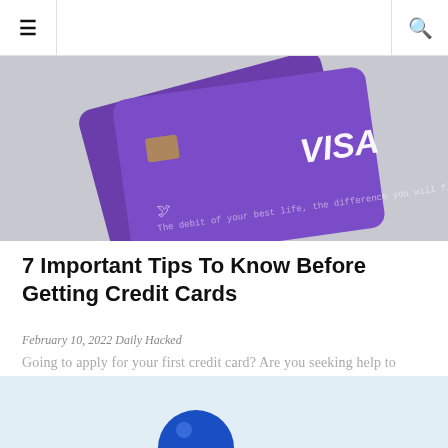≡  🔍
[Figure (photo): Two purple VISA credit cards overlapping on a light gray background]
7 Important Tips To Know Before Getting Credit Cards
February 10, 2022 Daily Hacked
Going to apply for your first credit card? Are you seeking help to get the best advantage of credit cards?...
[Figure (photo): Bottom portion of next article image showing light blue background with a blue sphere/ball]